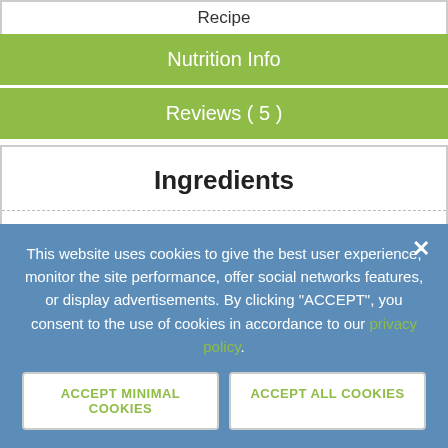Recipe
Nutrition Info
Reviews ( 5 )
Ingredients
| qty | ingredient | weight |
| --- | --- | --- |
| 1 | onions, finely chopped | 200 g |
| 2 cloves | garlic, minced |  |
| 4 | pork shank (ossobuco) | 800 g |
This website uses cookies to give the best user experience, monitor the site performance, offer social networks features, or display advertisements. By clicking "ACCEPT", you consent to the use of cookies in accordance to our privacy policy.
ACCEPT MINIMAL COOKIES
ACCEPT ALL COOKIES